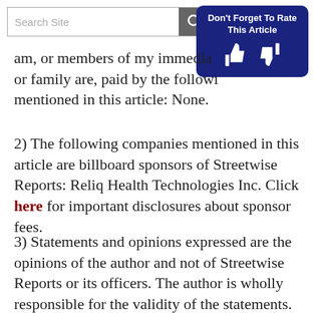am, or members of my immediate or family are, paid by the following mentioned in this article: None.
2) The following companies mentioned in this article are billboard sponsors of Streetwise Reports: Reliq Health Technologies Inc. Click here for important disclosures about sponsor fees.
3) Statements and opinions expressed are the opinions of the author and not of Streetwise Reports or its officers. The author is wholly responsible for the validity of the statements. The author was not paid by Streetwise